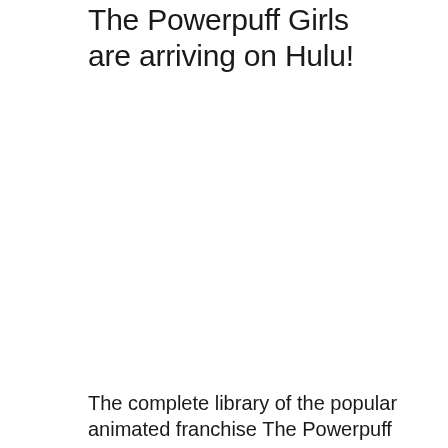The Powerpuff Girls are arriving on Hulu!
The complete library of the popular animated franchise The Powerpuff